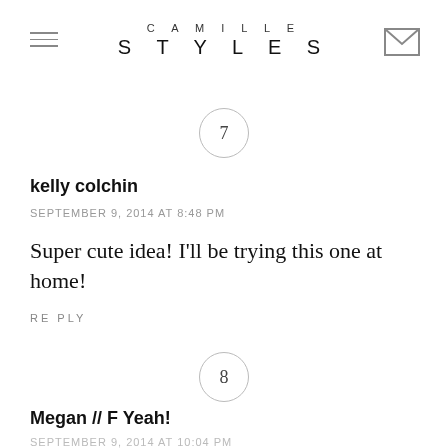CAMILLE STYLES
7
kelly colchin
SEPTEMBER 9, 2014 AT 8:48 PM
Super cute idea! I'll be trying this one at home!
RE PLY
8
Megan // F Yeah!
SEPTEMBER 9, 2014 AT 10:04 PM
Every year, I plan to send out holidays cards, and